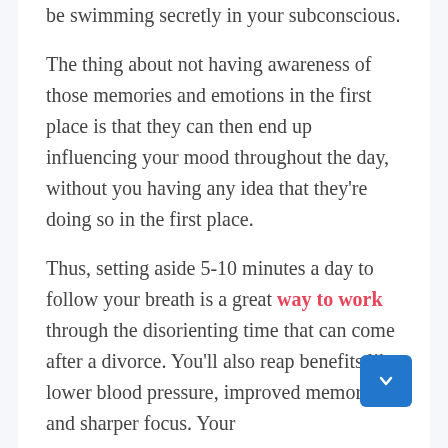be swimming secretly in your subconscious.
The thing about not having awareness of those memories and emotions in the first place is that they can then end up influencing your mood throughout the day, without you having any idea that they're doing so in the first place.
Thus, setting aside 5-10 minutes a day to follow your breath is a great way to work through the disorienting time that can come after a divorce. You'll also reap benefits like lower blood pressure, improved memory, and sharper focus. Your